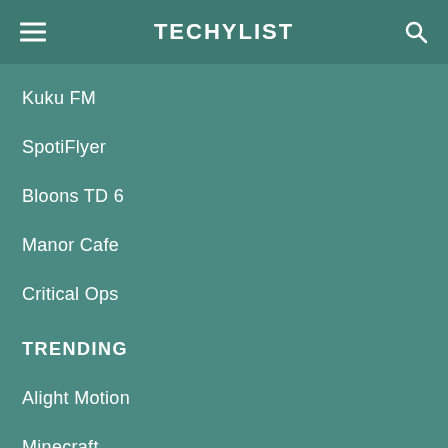TECHYLIST
Kuku FM
SpotiFlyer
Bloons TD 6
Manor Cafe
Critical Ops
TRENDING
Alight Motion
Minecraft
Lucky Patcher
GTA San Andreas
Subway Surfers